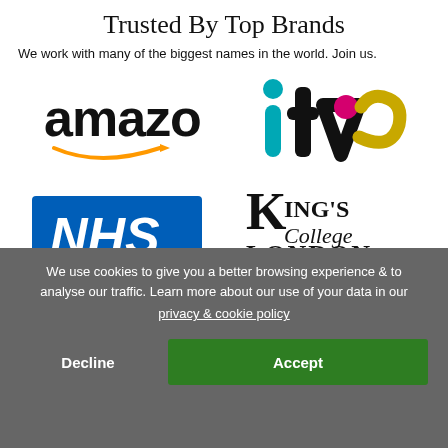Trusted By Top Brands
We work with many of the biggest names in the world. Join us.
[Figure (logo): Amazon logo with orange arrow]
[Figure (logo): ITV logo in teal, black, pink, and gold]
[Figure (logo): NHS logo - white text on blue background]
[Figure (logo): King's College London logo in serif black text]
[Figure (logo): Partially visible circular blue logo (bottom left)]
[Figure (logo): Partially visible red rectangle logo (bottom right)]
We use cookies to give you a better browsing experience & to analyse our traffic. Learn more about our use of your data in our
privacy & cookie policy
Decline
Accept